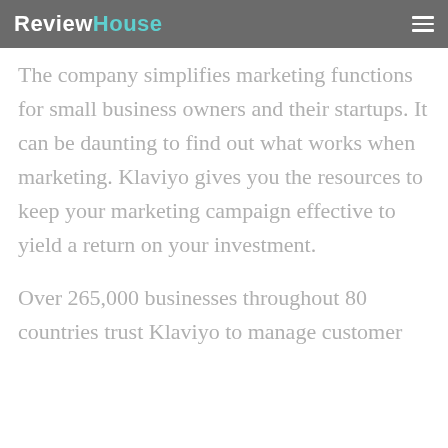ReviewHouse
The company simplifies marketing functions for small business owners and their startups. It can be daunting to find out what works when marketing. Klaviyo gives you the resources to keep your marketing campaign effective to yield a return on your investment.
Over 265,000 businesses throughout 80 countries trust Klaviyo to manage customer